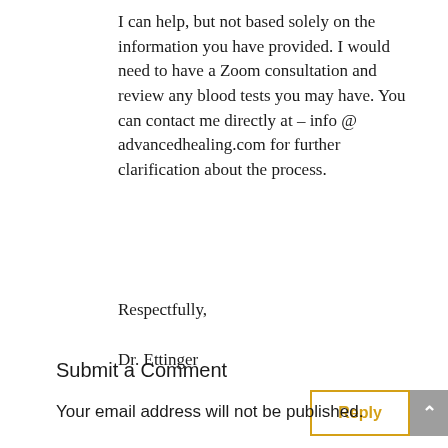I can help, but not based solely on the information you have provided. I would need to have a Zoom consultation and review any blood tests you may have. You can contact me directly at – info @ advancedhealing.com for further clarification about the process.
Respectfully,
Dr. Ettinger
Submit a Comment
Your email address will not be published.